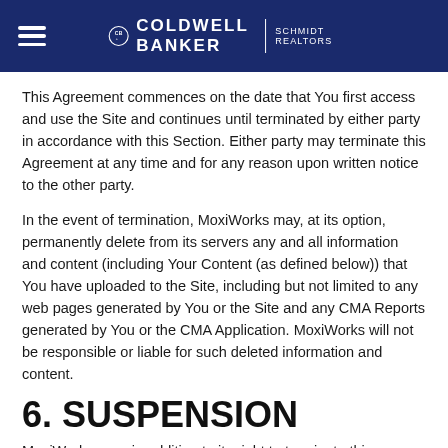Coldwell Banker Schmidt Realtors
This Agreement commences on the date that You first access and use the Site and continues until terminated by either party in accordance with this Section. Either party may terminate this Agreement at any time and for any reason upon written notice to the other party.
In the event of termination, MoxiWorks may, at its option, permanently delete from its servers any and all information and content (including Your Content (as defined below)) that You have uploaded to the Site, including but not limited to any web pages generated by You or the Site and any CMA Reports generated by You or the CMA Application. MoxiWorks will not be responsible or liable for such deleted information and content.
6. SUSPENSION
MoxiWorks may, in addition to its right to terminate this Agreement, suspend all or part of the Site and/or suspend or limit Your access to the Site if MoxiWorks determines any such